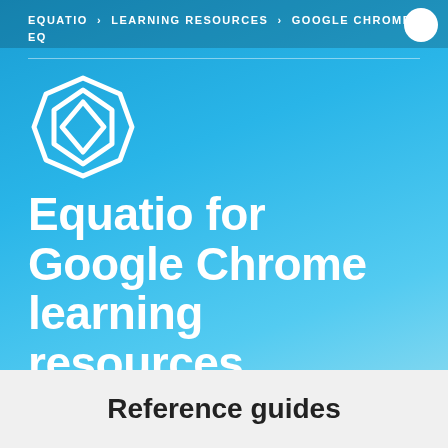EQUATIO > LEARNING RESOURCES > GOOGLE CHROME EQ
[Figure (logo): Equatio geometric diamond-shaped logo in white outline on blue background]
Equatio for Google Chrome learning resources
Reference guides